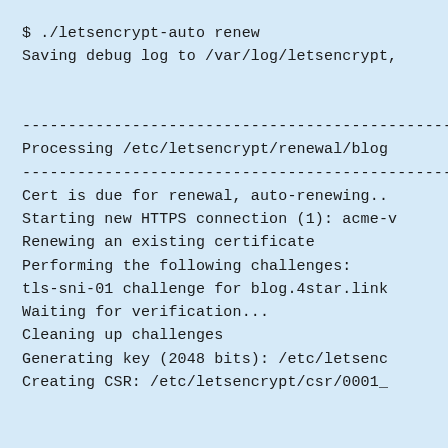$ ./letsencrypt-auto renew
Saving debug log to /var/log/letsencrypt,
------------------------------------------------
Processing /etc/letsencrypt/renewal/blog
------------------------------------------------
Cert is due for renewal, auto-renewing..
Starting new HTTPS connection (1): acme-v
Renewing an existing certificate
Performing the following challenges:
tls-sni-01 challenge for blog.4star.link
Waiting for verification...
Cleaning up challenges
Generating key (2048 bits): /etc/letsenc
Creating CSR: /etc/letsencrypt/csr/0001_
------------------------------------------------